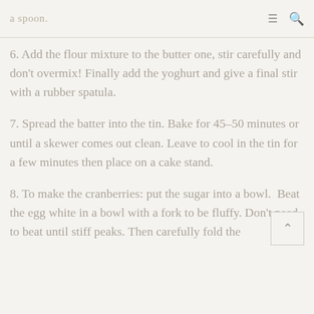a spoon.
6. Add the flour mixture to the butter one, stir carefully and don't overmix! Finally add the yoghurt and give a final stir with a rubber spatula.
7. Spread the batter into the tin. Bake for 45–50 minutes or until a skewer comes out clean. Leave to cool in the tin for a few minutes then place on a cake stand.
8. To make the cranberries: put the sugar into a bowl.  Beat the egg white in a bowl with a fork to be fluffy. Don't need to beat until stiff peaks. Then carefully fold the